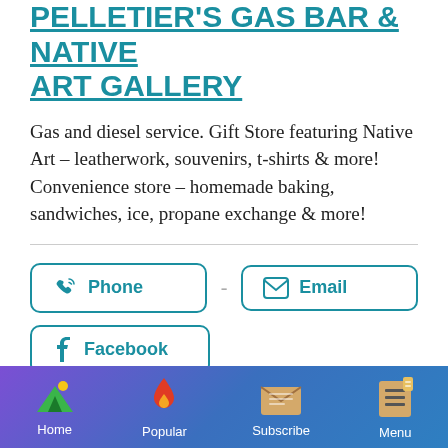PELLETIER'S GAS BAR & NATIVE ART GALLERY
Gas and diesel service. Gift Store featuring Native Art – leatherwork, souvenirs, t-shirts & more! Convenience store – homemade baking, sandwiches, ice, propane exchange & more!
Phone
Email
Facebook
Home | Popular | Subscribe | Menu